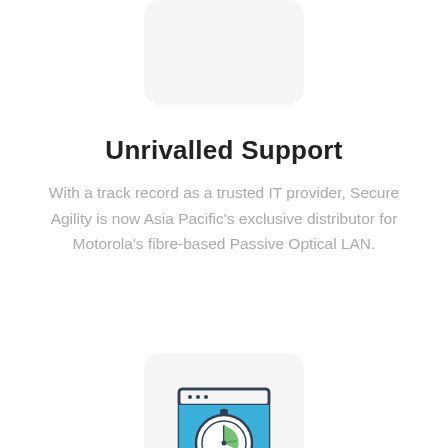[Figure (illustration): Partial icon card visible at top of page, light gray rounded rectangle with clipped content]
Unrivalled Support
With a track record as a trusted IT provider, Secure Agility is now Asia Pacific's exclusive distributor for Motorola's fibre-based Passive Optical LAN.
[Figure (illustration): Icon card showing a browser window with a stopwatch/timer icon inside, representing speed or time-saving, on a light gray rounded rectangle card]
Save Time